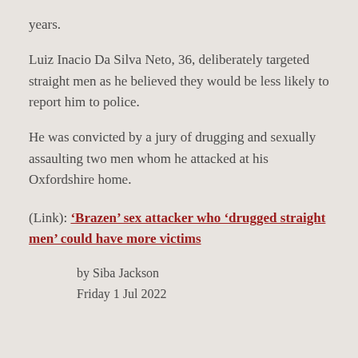years.
Luiz Inacio Da Silva Neto, 36, deliberately targeted straight men as he believed they would be less likely to report him to police.
He was convicted by a jury of drugging and sexually assaulting two men whom he attacked at his Oxfordshire home.
(Link): ‘Brazen’ sex attacker who ‘drugged straight men’ could have more victims
by Siba Jackson
Friday 1 Jul 2022